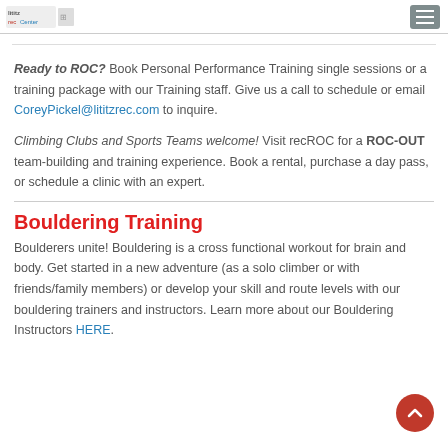lititz recCenter [logo]
Ready to ROC?  Book Personal Performance Training single sessions or a training package with our Training staff.  Give us a call to schedule or email CoreyPickel@lititzrec.com to inquire.
Climbing Clubs and Sports Teams welcome!  Visit recROC for a ROC-OUT team-building and training experience.  Book a rental, purchase a day pass, or schedule a clinic with an expert.
Bouldering Training
Boulderers unite!  Bouldering is a cross functional workout for brain and body.  Get started in a new adventure (as a solo climber or with friends/family members) or develop your skill and route levels with our bouldering trainers and instructors.  Learn more about our Bouldering Instructors HERE.